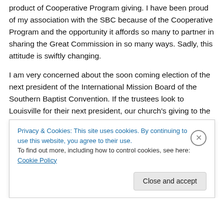product of Cooperative Program giving. I have been proud of my association with the SBC because of the Cooperative Program and the opportunity it affords so many to partner in sharing the Great Commission in so many ways. Sadly, this attitude is swiftly changing.
I am very concerned about the soon coming election of the next president of the International Mission Board of the Southern Baptist Convention. If the trustees look to Louisville for their next president, our church's giving to the Lottie Moon Christmas Offering will follow our giving to the Annie Armstrong Easter Offering $1...
Privacy & Cookies: This site uses cookies. By continuing to use this website, you agree to their use.
To find out more, including how to control cookies, see here: Cookie Policy